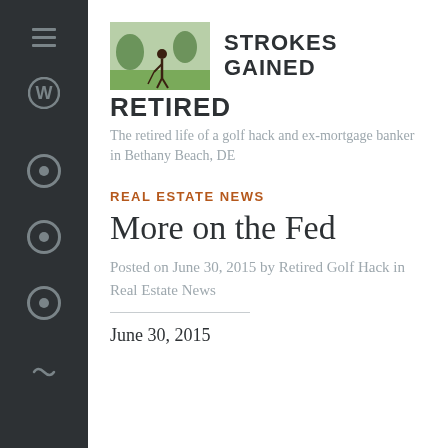[Figure (photo): Small photo of a golfer on a green course, used as blog header image]
STROKES GAINED RETIRED
The retired life of a golf hack and ex-mortgage banker in Bethany Beach, DE
REAL ESTATE NEWS
More on the Fed
Posted on June 30, 2015 by Retired Golf Hack in Real Estate News
June 30, 2015